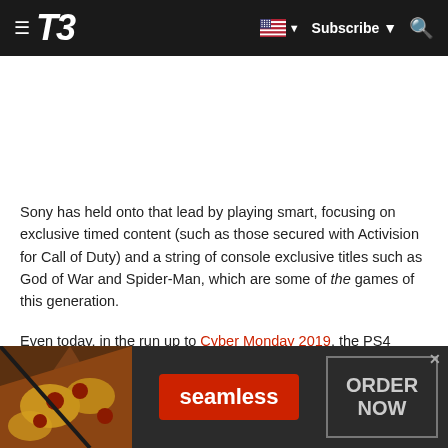T3 — Subscribe | Search
[Figure (other): White advertisement placeholder area]
Sony has held onto that lead by playing smart, focusing on exclusive timed content (such as those secured with Activision for Call of Duty) and a string of console exclusive titles such as God of War and Spider-Man, which are some of the games of this generation.
Even today, in the run up to Cyber Monday 2019, the PS4 remains a fantastic console to play amazing PS4 games such
[Figure (other): Seamless food delivery advertisement banner with pizza image, red Seamless button, and ORDER NOW button]